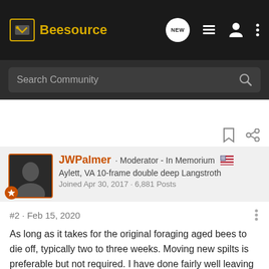Beesource
Search Community
[Figure (screenshot): White space / advertisement area]
JWPalmer · Moderator - In Memorium
Aylett, VA 10-frame double deep Langstroth
Joined Apr 30, 2017 · 6,881 Posts
#2 · Feb 15, 2020
As long as it takes for the original foraging aged bees to die off, typically two to three weeks. Moving new spilts is preferable but not required. I have done fairly well leaving the splits in the